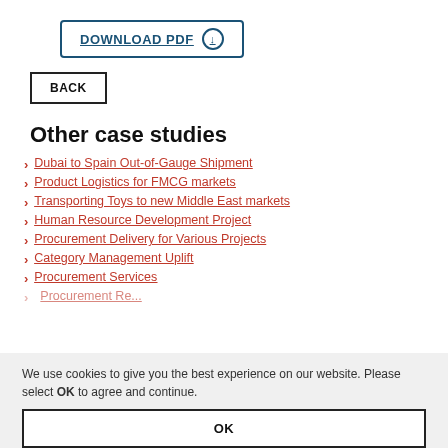[Figure (other): DOWNLOAD PDF button with download arrow icon, blue bordered button]
[Figure (other): BACK button, black bordered rectangular button]
Other case studies
Dubai to Spain Out-of-Gauge Shipment
Product Logistics for FMCG markets
Transporting Toys to new Middle East markets
Human Resource Development Project
Procurement Delivery for Various Projects
Category Management Uplift
Procurement Services
Procurement Re...
We use cookies to give you the best experience on our website. Please select OK to agree and continue.
[Figure (other): OK button, black bordered rectangular button]